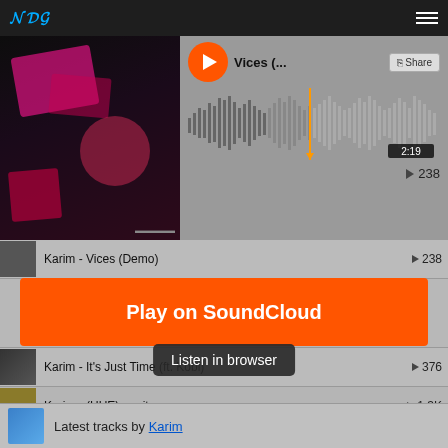NDA logo and hamburger menu
[Figure (screenshot): SoundCloud music player interface showing album art for Karim - Vices (Demo), waveform display showing 2:19 duration, play count 238, and a tracklist with multiple Karim tracks]
Karim - Vices (Demo) ▶ 238
Karim - It's Just Time (ft. Kobi) ▶ 376
Karim - (HUE)manity ▶ 1.3K
Karim - Whatever Happens (Interlude) ▶ 344
Karim - Karim - Shoot Your Shot ▶ 1.2K
Karim - Lost Vision (Interlude) ▶ 124
Play on SoundCloud
Listen in browser
Latest tracks by Karim